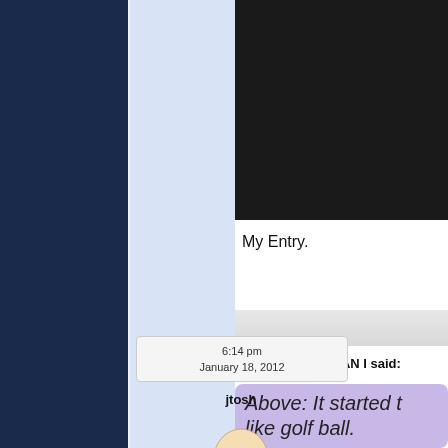[Figure (screenshot): Forum post screenshot showing a dark navy background on the left, a light blue sidebar with timestamp '6:14 pm January 18, 2012', username 'jtosh', egg avatar, 'Freshman Egg' rank, 'posts 2'. Right side shows a black image box, 'My Entry.' text, a gray separator bar, 'WHICH NAME CAN I said:' header, and a purple quote box with italic text 'Above: It started t... like golf ball.']